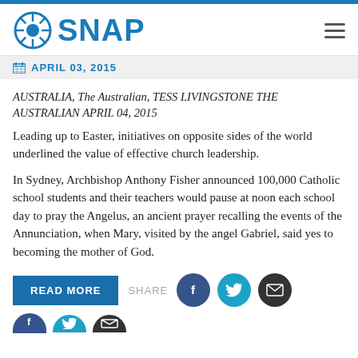SNAP
APRIL 03, 2015
AUSTRALIA, The Australian, TESS LIVINGSTONE THE AUSTRALIAN APRIL 04, 2015
Leading up to Easter, initiatives on opposite sides of the world underlined the value of effective church leadership.
In Sydney, Archbishop Anthony Fisher announced 100,000 Catholic school students and their teachers would pause at noon each school day to pray the Angelus, an ancient prayer recalling the events of the Annunciation, when Mary, visited by the angel Gabriel, said yes to becoming the mother of God.
READ MORE
SHARE